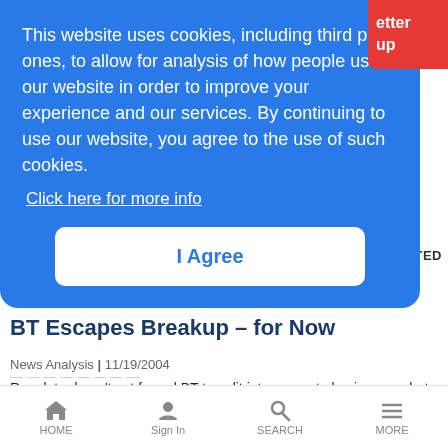[Figure (screenshot): Red button partially visible top-right corner with text 'etter' and 'up']
This website uses cookies, including third party ones, to allow for analysis of how people use our website in order to improve your experience and our services. By continuing to use our website, you agree to the use of such cookies.
Click here for more info
I Agree
UPDATED
BT Escapes Breakup – for Now
News Analysis | 11/19/2004
Regulator hasn't yet forced BT to split into separate businesses, but the threat clearly exists
HOME  Sign In  SEARCH  MORE